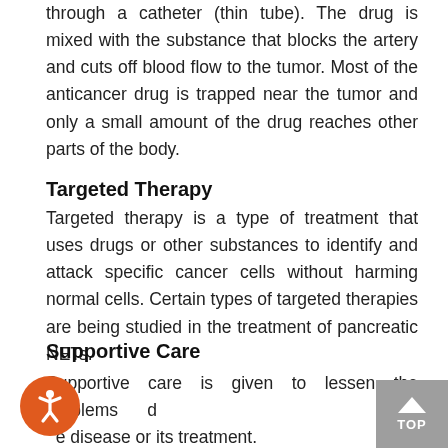through a catheter (thin tube). The drug is mixed with the substance that blocks the artery and cuts off blood flow to the tumor. Most of the anticancer drug is trapped near the tumor and only a small amount of the drug reaches other parts of the body.
Targeted Therapy
Targeted therapy is a type of treatment that uses drugs or other substances to identify and attack specific cancer cells without harming normal cells. Certain types of targeted therapies are being studied in the treatment of pancreatic NETs.
Supportive Care
Supportive care is given to lessen the problems caused by the disease or its treatment.